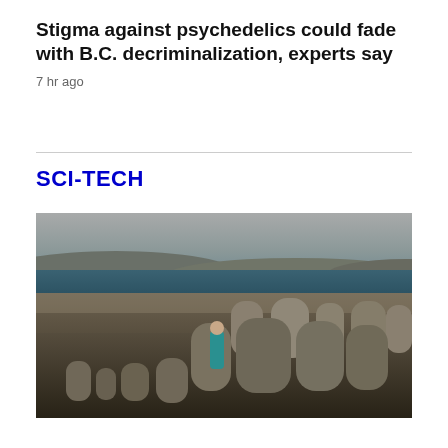Stigma against psychedelics could fade with B.C. decriminalization, experts say
7 hr ago
SCI-TECH
[Figure (photo): A person in a teal/green outfit standing among large rounded grey stones on a rocky beach, with dark blue water and low hills in the background under a hazy sky.]